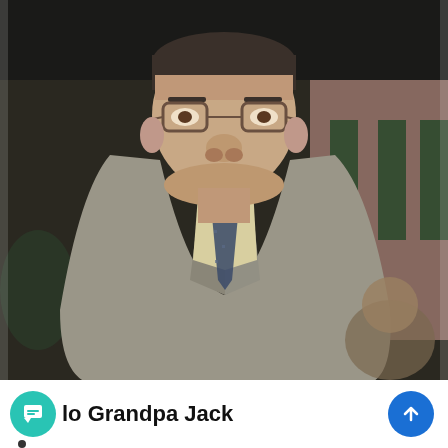[Figure (photo): Vintage color photograph of a heavyset middle-aged man wearing glasses, a grey suit jacket, light yellow shirt, and a dark patterned tie. He is standing and looking slightly upward. Background is dark with other people partially visible and a pink/mauve wall to the right.]
lo Grandpa Jack